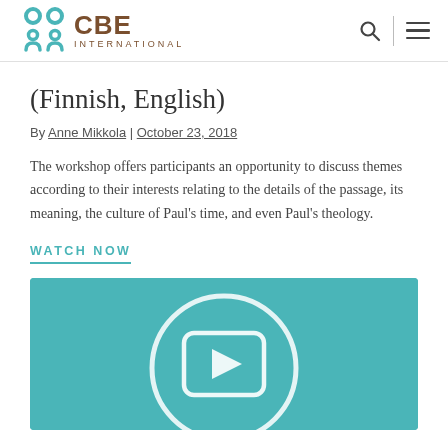CBE International
(Finnish, English)
By Anne Mikkola | October 23, 2018
The workshop offers participants an opportunity to discuss themes according to their interests relating to the details of the passage, its meaning, the culture of Paul’s time, and even Paul’s theology.
WATCH NOW
[Figure (screenshot): Teal/turquoise video thumbnail with a circular play button icon (circle with a rounded rectangle and play arrow inside), partially cropped at the bottom of the page.]